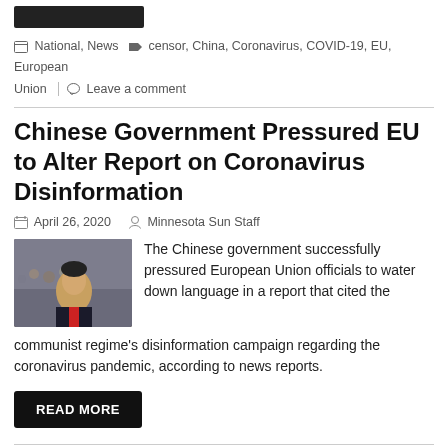[dark button/bar]
National, News  censor, China, Coronavirus, COVID-19, EU, European Union  Leave a comment
Chinese Government Pressured EU to Alter Report on Coronavirus Disinformation
April 26, 2020  Minnesota Sun Staff
[Figure (photo): Photo of a Chinese official (Xi Jinping) at what appears to be a formal meeting or conference setting]
The Chinese government successfully pressured European Union officials to water down language in a report that cited the communist regime's disinformation campaign regarding the coronavirus pandemic, according to news reports.
READ MORE
National, News  Coronavirus, EU, Xi Jinping  Leave a comment